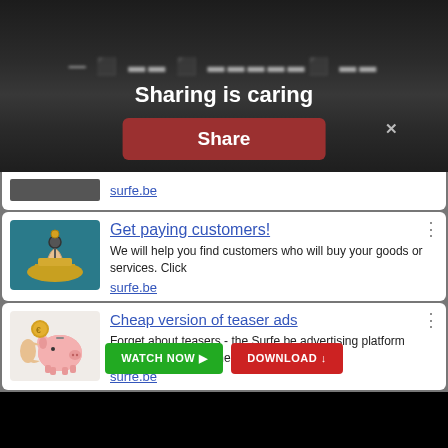[Figure (screenshot): Dark overlay popup with 'Sharing is caring' title and red Share button on dark gradient background]
Sharing is caring
[Figure (screenshot): Advertisement card - partially visible top ad with surfe.be link]
[Figure (screenshot): Advertisement: Get paying customers! - We will help you find customers who will buy your goods or services. Click - surfe.be]
[Figure (screenshot): Advertisement: Cheap version of teaser ads - Forget about teasers - the Surfe.be advertising platform attracts customers cheap - surfe.be]
[Figure (screenshot): Bottom buttons: WATCH NOW and DOWNLOAD]